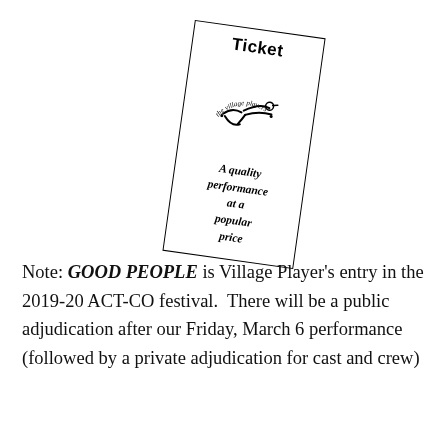[Figure (illustration): A rotated ticket stub with 'Ticket' as the title, a Village Players logo (stylized bird/seagull with cursive 'the village players' text), and the tagline 'A quality performance at a popular price']
Note: GOOD PEOPLE is Village Player's entry in the 2019-20 ACT-CO festival.  There will be a public adjudication after our Friday, March 6 performance (followed by a private adjudication for cast and crew)